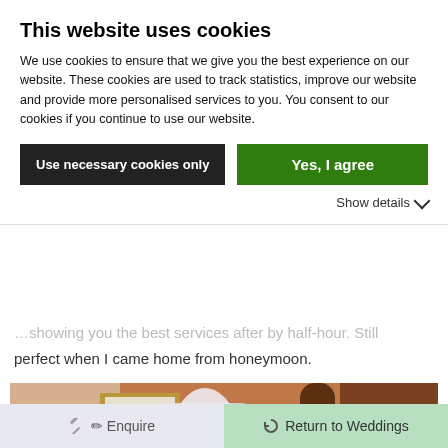This website uses cookies
We use cookies to ensure that we give you the best experience on our website. These cookies are used to track statistics, improve our website and provide more personalised services to you. You consent to our cookies if you continue to use our website.
Use necessary cookies only | Yes, I agree
Show details
perfect when I came home from honeymoon.
[Figure (photo): A wedding dress in a plastic garment bag hanging on a wardrobe door or hook, with a wooden bedpost visible in the background and a warm brown wall.]
Enquire | Return to Weddings